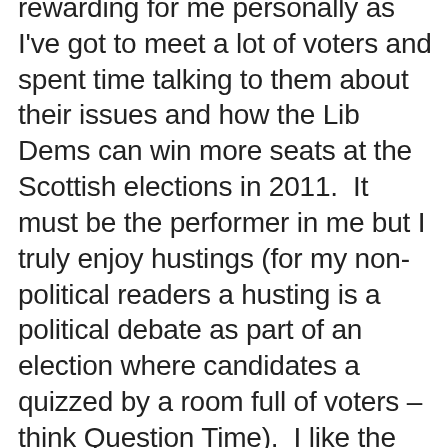rewarding for me personally as I've got to meet a lot of voters and spent time talking to them about their issues and how the Lib Dems can win more seats at the Scottish elections in 2011.  It must be the performer in me but I truly enjoy hustings (for my non-political readers a husting is a political debate as part of an election where candidates a quizzed by a room full of voters – think Question Time).  I like the combative nature of hustings and the preperation that is required.  My years learning improvisation as a musician has also proved useful as the basics (creating a theme/mood, improvising around that theme, bouncing off others ideas and restating the theme) have a lot of similarities in music and politics.